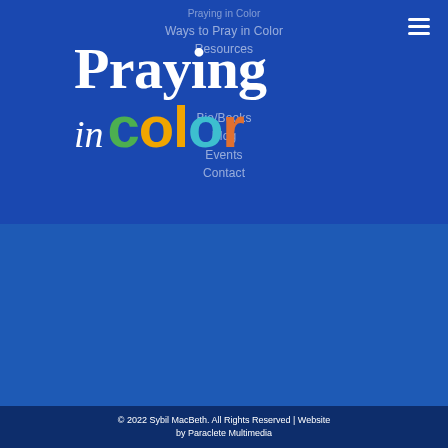[Figure (screenshot): Website screenshot showing 'Praying in Color' navigation menu overlay on blue background with hamburger menu icon, nav items: Praying in Color, Ways to Pray in Color, Resources, Bio/Books, Blog, Events, Contact, and the Praying in Color logo text with multicolored letters overlaid.]
[Figure (logo): Praying in Color logo on medium blue background. 'Praying' in large white serif bold, 'in' in white italic, 'color' in multicolored sans-serif bold: c=green, o=orange, l=orange, o=teal, r=orange-brown.]
© 2022 Sybil MacBeth. All Rights Reserved | Website by Paraclete Multimedia